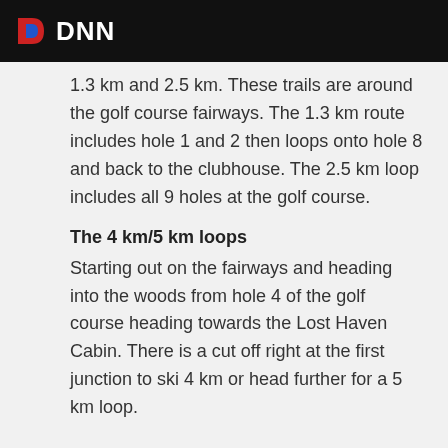DNN
1.3 km and 2.5 km.  These trails are around the golf course fairways.  The 1.3 km route includes hole 1 and 2 then loops onto hole 8 and back to the clubhouse.  The 2.5 km loop includes all 9 holes at the golf course.
The 4 km/5 km loops
Starting out on the fairways and heading into the woods from hole 4 of the golf course heading towards the Lost Haven Cabin.  There is a cut off right at the first junction to ski 4 km or head further for a 5 km loop.